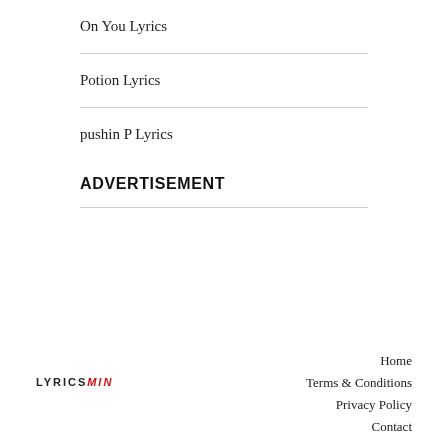On You Lyrics
Potion Lyrics
pushin P Lyrics
ADVERTISEMENT
LYRICSMIN  Home  Terms & Conditions  Privacy Policy  Contact